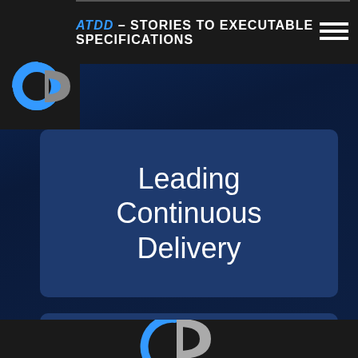ATDD – STORIES TO EXECUTABLE SPECIFICATIONS
[Figure (logo): Circular logo with blue and gray 'CD' letters]
Leading Continuous Delivery
Get Going with CD Pipelines
[Figure (logo): Partial circular logo at bottom of page]